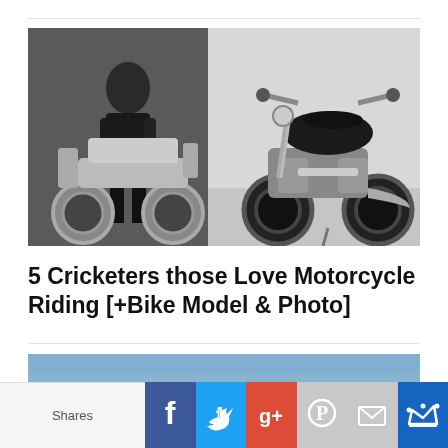[Figure (photo): Two motorcycle photos side by side: left shows a man in black gear standing next to a custom chrome motorcycle; right shows a detailed view of a black and chrome custom motorcycle on a gray background]
5 Cricketers those Love Motorcycle Riding [+Bike Model & Photo]
[Figure (photo): Soccer/football match photo showing players in yellow and red jerseys competing on a pitch]
Shares  Facebook  Twitter  Google+  Pinterest  Email  Crown